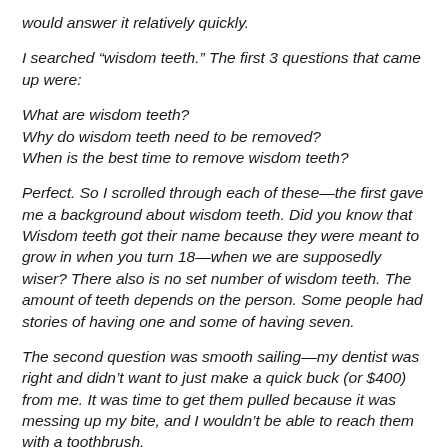would answer it relatively quickly.
I searched “wisdom teeth.” The first 3 questions that came up were:
What are wisdom teeth?
Why do wisdom teeth need to be removed?
When is the best time to remove wisdom teeth?
Perfect. So I scrolled through each of these—the first gave me a background about wisdom teeth. Did you know that Wisdom teeth got their name because they were meant to grow in when you turn 18—when we are supposedly wiser? There also is no set number of wisdom teeth. The amount of teeth depends on the person. Some people had stories of having one and some of having seven.
The second question was smooth sailing—my dentist was right and didn’t want to just make a quick buck (or $400) from me. It was time to get them pulled because it was messing up my bite, and I wouldn’t be able to reach them with a toothbrush.